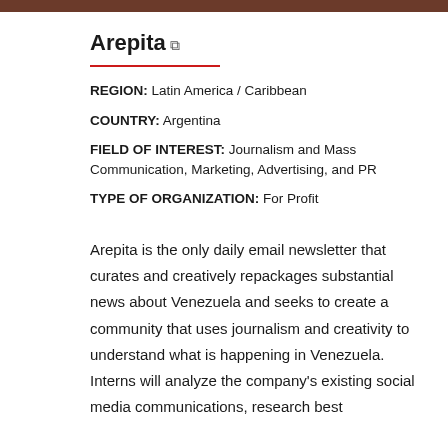[Figure (photo): Dark image strip at top of page]
Arepita
REGION: Latin America / Caribbean
COUNTRY: Argentina
FIELD OF INTEREST: Journalism and Mass Communication, Marketing, Advertising, and PR
TYPE OF ORGANIZATION: For Profit
Arepita is the only daily email newsletter that curates and creatively repackages substantial news about Venezuela and seeks to create a community that uses journalism and creativity to understand what is happening in Venezuela. Interns will analyze the company's existing social media communications, research best